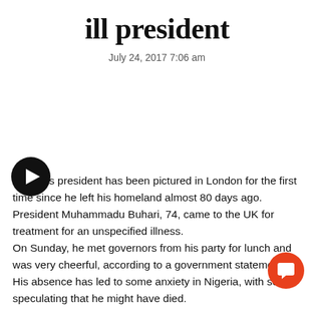ill president
July 24, 2017 7:06 am
Nigeria's president has been pictured in London for the first time since he left his homeland almost 80 days ago. President Muhammadu Buhari, 74, came to the UK for treatment for an unspecified illness. On Sunday, he met governors from his party for lunch and was very cheerful, according to a government statement. His absence has led to some anxiety in Nigeria, with some speculating that he might have died.